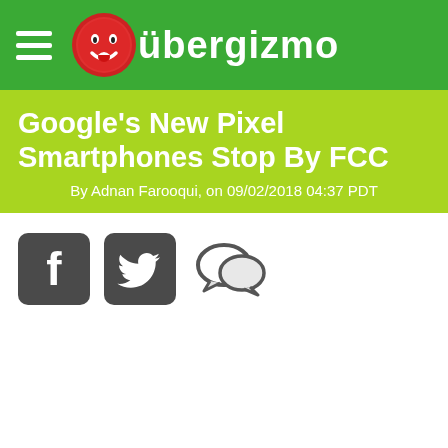übergizmo
Google's New Pixel Smartphones Stop By FCC
By Adnan Farooqui, on 09/02/2018 04:37 PDT
[Figure (other): Social sharing icons: Facebook, Twitter, Comments]